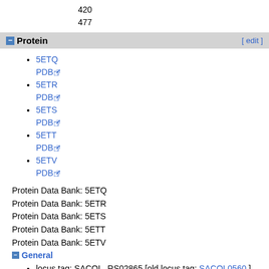420
477
Protein [ edit ]
5ETQ
PDB
5ETR
PDB
5ETS
PDB
5ETT
PDB
5ETV
PDB
Protein Data Bank: 5ETQ
Protein Data Bank: 5ETR
Protein Data Bank: 5ETS
Protein Data Bank: 5ETT
Protein Data Bank: 5ETV
General
locus tag: SACOL_RS02865 [old locus tag: SACOL0560 ]
symbol: SACOL_RS02865